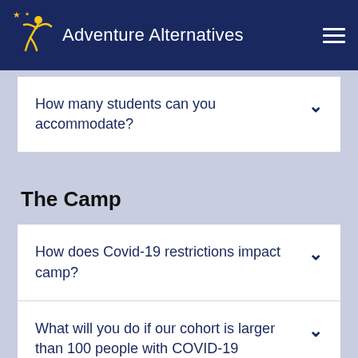Adventure Alternatives
How many students can you accommodate?
The Camp
How does Covid-19 restrictions impact camp?
What will you do if our cohort is larger than 100 people with COVID-19 restrictions?